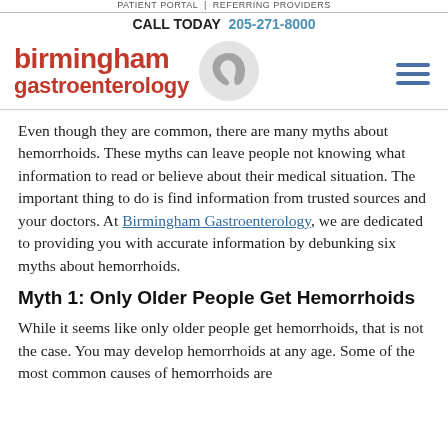PATIENT PORTAL | REFERRING PROVIDERS
CALL TODAY 205-271-8000
[Figure (logo): Birmingham Gastroenterology logo with red text and a grey stomach/GI tract icon]
Even though they are common, there are many myths about hemorrhoids. These myths can leave people not knowing what information to read or believe about their medical situation. The important thing to do is find information from trusted sources and your doctors. At Birmingham Gastroenterology, we are dedicated to providing you with accurate information by debunking six myths about hemorrhoids.
Myth 1: Only Older People Get Hemorrhoids
While it seems like only older people get hemorrhoids, that is not the case. You may develop hemorrhoids at any age. Some of the most common causes of hemorrhoids are